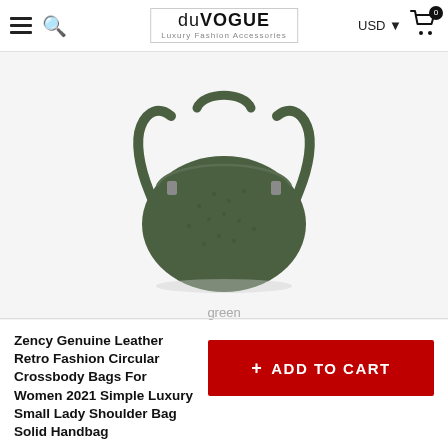duVOGUE Luxury Fashion Accessories — USD — Cart (0)
[Figure (photo): Green circular crossbody leather handbag with shoulder strap on light grey background, color label 'green' below]
green
Zency Genuine Leather Retro Fashion Circular Crossbody Bags For Women 2021 Simple Luxury Small Lady Shoulder Bag Solid Handbag
$68.92 $103.38